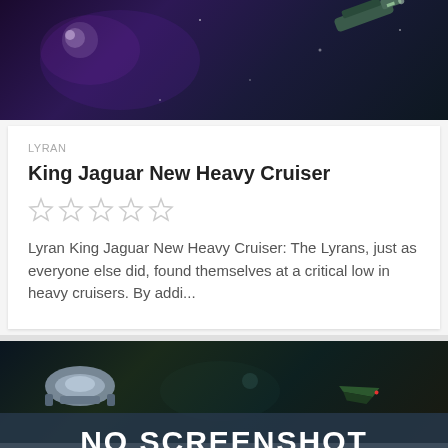[Figure (screenshot): Space scene with spacecraft and purple/dark nebula background at top of page]
LYRAN
King Jaguar New Heavy Cruiser
[Figure (other): Five empty star rating icons]
Lyran King Jaguar New Heavy Cruiser: The Lyrans, just as everyone else did, found themselves at a critical low in heavy cruisers. By addi...
[Figure (screenshot): Space scene with spacecraft showing 'NO SCREENSHOT' overlay banner, dark space background with multiple ships]